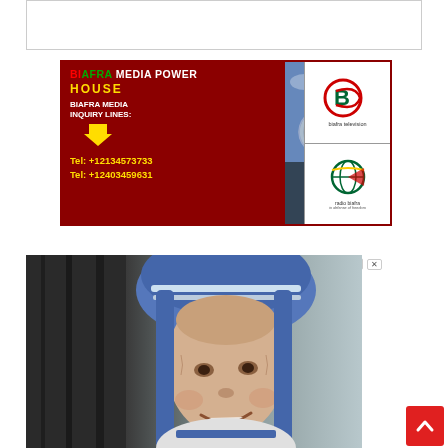[Figure (other): White banner/advertisement placeholder at top]
[Figure (infographic): Biafra Media Power House advertisement with satellite dish, biafra television and radio biafra logos. Text: BIAFRA MEDIA POWER HOUSE, BIAFRA MEDIA INQUIRY LINES, Tel: +12134573733, Tel: +12403459631]
[Figure (photo): Close-up photo of an elderly woman wearing a blue and white nun's habit (headpiece), smiling. Appears to be Mother Teresa.]
[Figure (other): Red scroll-to-top button with upward chevron arrow in bottom right corner]